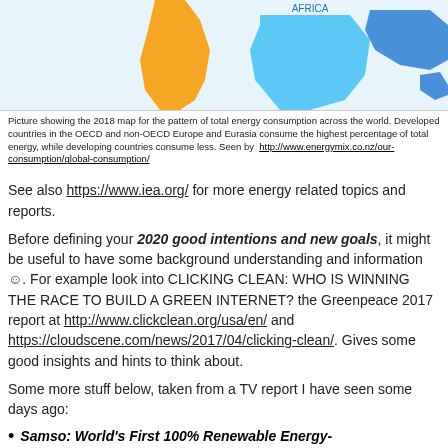[Figure (map): Partial world map showing total energy consumption by region. Africa shown in light blue, South America in orange, Australia/Oceania in dark blue.]
Picture showing the 2018 map for the pattern of total energy consumption across the world. Developed countries in the OECD and non-OECD Europe and Eurasia consume the highest percentage of total energy, while developing countries consume less. Seen by http://www.energymix.co.nz/our-consumption/global-consumption/
See also https://www.iea.org/ for more energy related topics and reports.
Before defining your 2020 good intentions and new goals, it might be useful to have some background understanding and information ☺. For example look into CLICKING CLEAN: WHO IS WINNING THE RACE TO BUILD A GREEN INTERNET? the Greenpeace 2017 report at http://www.clickclean.org/usa/en/ and https://cloudscene.com/news/2017/04/clicking-clean/. Gives some good insights and hints to think about.
Some more stuff below, taken from a TV report I have seen some days ago:
Samso: World's First 100% Renewable Energy-